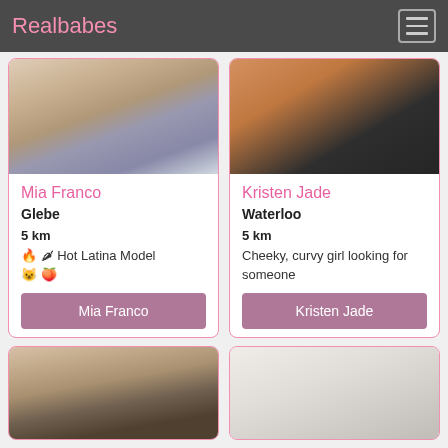Realbabes
[Figure (photo): Profile photo of Mia Franco - person in stockings from behind near pool tiles]
Mia Franco
Glebe
5 km
🔥🌶 Hot Latina Model 😺🍑
Mia Franco
[Figure (photo): Profile photo of Kristen Jade - person from behind near sink]
Kristen Jade
Waterloo
5 km
Cheeky, curvy girl looking for someone
Kristen Jade
[Figure (photo): Profile photo - person with glasses, brown hair]
[Figure (photo): Profile photo - person in white shirt]